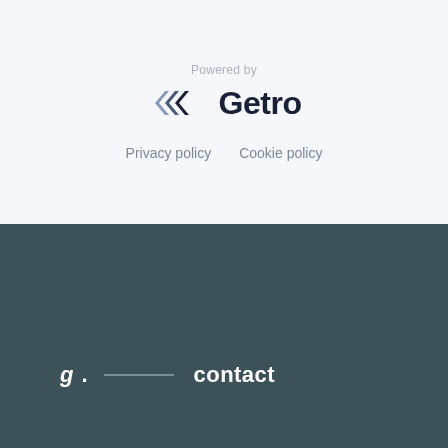Powered by
[Figure (logo): Getro logo with angular double chevron icon in dark navy and the wordmark 'Getro' in bold dark navy text]
Privacy policy    Cookie policy
g.  ——  contact